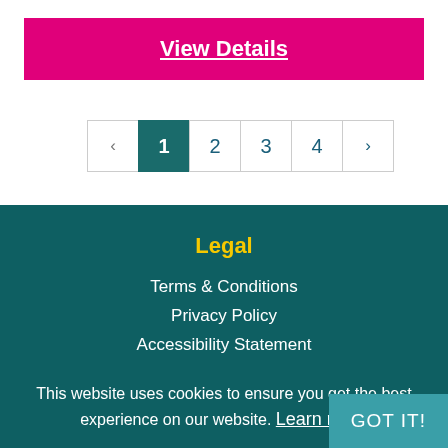View Details
‹ 1 2 3 4 ›
Legal
Terms & Conditions
Privacy Policy
Accessibility Statement
This website uses cookies to ensure you get the best experience on our website. Learn more
GOT IT!